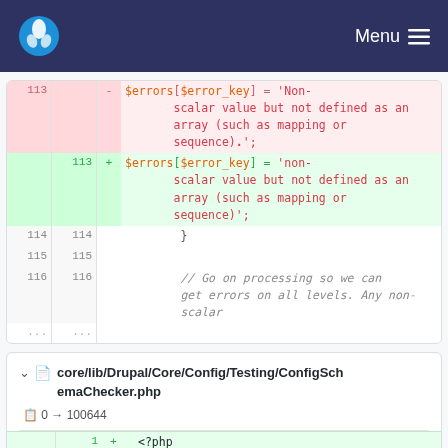Drupal logo | Menu ≡
[Figure (screenshot): Code diff showing lines 113-116 and ... with deleted (red) and added (green) lines for a PHP file. Deleted line 113: $errors[$error_key] = 'Non-scalar value but not defined as an array (such as mapping or sequence).'; Added line 113: $errors[$error_key] = 'non-scalar value but not defined as an array (such as mapping or sequence)'; Context lines 114-116: }, blank, // Go on processing so we can get errors on all levels. Any non-scalar]
core/lib/Drupal/Core/Config/Testing/ConfigSchemaChecker.php  0 → 100644
[Figure (screenshot): New file diff showing lines 1 and 2: + <?php, +]